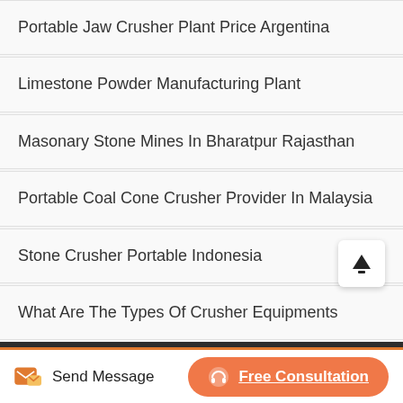Portable Jaw Crusher Plant Price Argentina
Limestone Powder Manufacturing Plant
Masonary Stone Mines In Bharatpur Rajasthan
Portable Coal Cone Crusher Provider In Malaysia
Stone Crusher Portable Indonesia
What Are The Types Of Crusher Equipments
Copyright © 2021.Bunzo Mining Machinery Co., ltd. All rights reserved.Sitemap
Send Message
Free Consultation